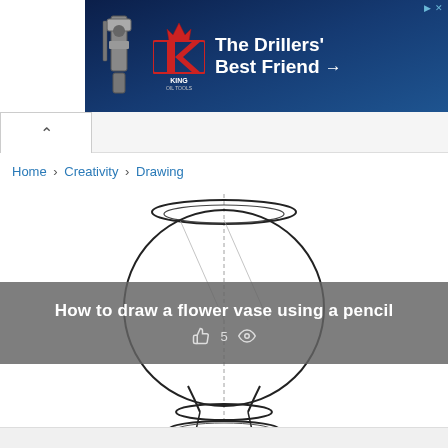[Figure (illustration): King Oil Tools advertisement banner with dark blue background, showing a drilling machine on the left, King Oil Tools logo (red K with crown), and text 'The Drillers' Best Friend →']
Home › Creativity › Drawing
[Figure (illustration): Line drawing of a round flower vase with a wide rim at the top, spherical body, narrow neck at bottom, and a circular pedestal base. A vertical center line is drawn through the vase. The image has an overlay banner reading 'How to draw a flower vase using a pencil' with a thumbs-up icon showing 5 likes and an eye/view icon.]
How to draw a flower vase using a pencil